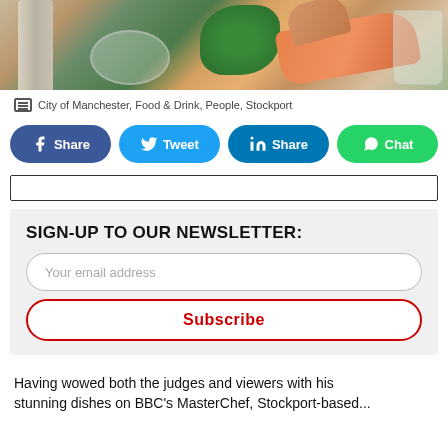[Figure (photo): Food preparation scene: hands, salmon/carrot, green herbs, bowls, bottles and jars on a kitchen counter]
City of Manchester, Food & Drink, People, Stockport
Share | Tweet | Share | Chat
SIGN-UP TO OUR NEWSLETTER:
Your email address
Subscribe
Having wowed both the judges and viewers with his stunning dishes on BBC's MasterChef, Stockport-based...